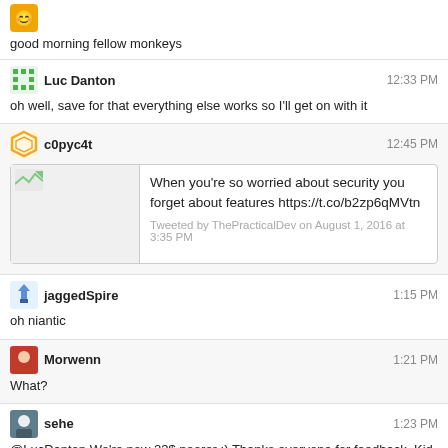good morning fellow monkeys
Luc Danton 12:33 PM
oh well, save for that everything else works so I'll get on with it
c0pyc4t 12:45 PM
When you're so worried about security you forget about features https://t.co/b2zp6qMVtn
Tweeted by ThePracticalDev on August 1, 2016 at 3:35 PM
jaggedSpire 1:15 PM
oh niantic
Morwenn 1:21 PM
What?
sehe 1:23 PM
@LucDanton We're now 23$ poorer :) Thanks everyone for feedback. Kid happy too. Now in creative mode (I don't think Pocket Edition has it)
nwp 1:24 PM
fun with C: enum E{e1, e2}; void f(enum E *e); f(e1); compiles just fine, not even a warning while f(e2); is a compilation error
jaggedSpire 1:28 PM
@M...